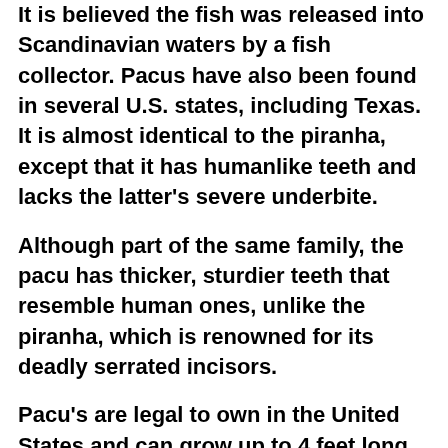It is believed the fish was released into Scandinavian waters by a fish collector. Pacus have also been found in several U.S. states, including Texas. It is almost identical to the piranha, except that it has humanlike teeth and lacks the latter's severe underbite.
Although part of the same family, the pacu has thicker, sturdier teeth that resemble human ones, unlike the piranha, which is renowned for its deadly serrated incisors.
Pacu's are legal to own in the United States and can grow up to 4 feet long, which is why the owner may have worried and released it into Lake Ki.
In 2011, one intrepid British angler traveled to Papua New Guinea to catch pacu, known locally as 'The Ball Cutter'.